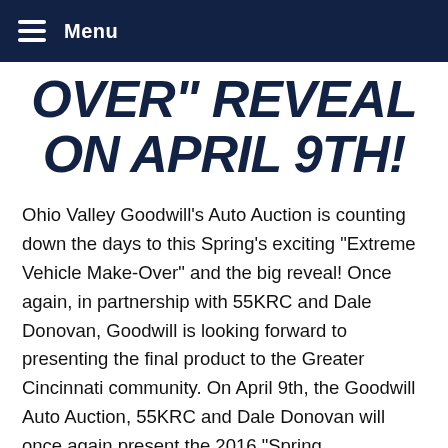Menu
OVER" REVEAL ON APRIL 9TH!
Ohio Valley Goodwill’s Auto Auction is counting down the days to this Spring’s exciting “Extreme Vehicle Make-Over” and the big reveal! Once again, in partnership with 55KRC and Dale Donovan, Goodwill is looking forward to presenting the final product to the Greater Cincinnati community. On April 9th, the Goodwill Auto Auction, 55KRC and Dale Donovan will once again present the 2016 “Spring